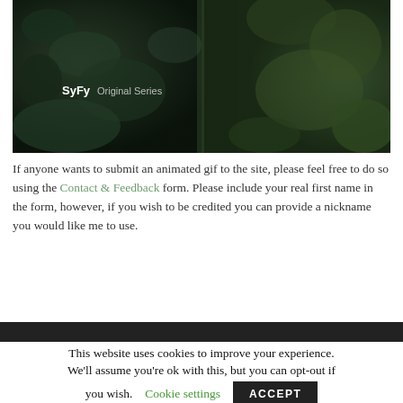[Figure (photo): Dark underwater or macro photograph with 'SyFy Original Series' text overlay on the lower left portion. Shows dark rocky/coral-like textures with greenish tones.]
If anyone wants to submit an animated gif to the site, please feel free to do so using the Contact & Feedback form. Please include your real first name in the form, however, if you wish to be credited you can provide a nickname you would like me to use.
SITE INFO / DISCLAIMER / DONATE
This website uses cookies to improve your experience. We'll assume you're ok with this, but you can opt-out if you wish. Cookie settings ACCEPT